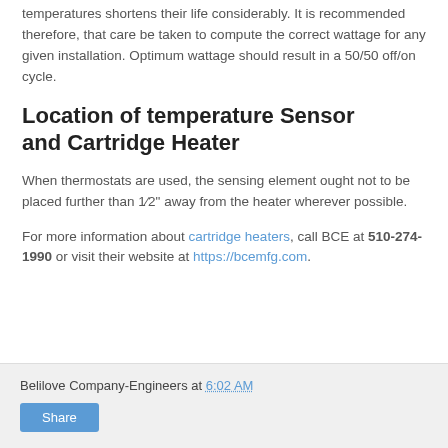temperatures shortens their life considerably. It is recommended therefore, that care be taken to compute the correct wattage for any given installation. Optimum wattage should result in a 50/50 off/on cycle.
Location of temperature Sensor and Cartridge Heater
When thermostats are used, the sensing element ought not to be placed further than 1⁄2" away from the heater wherever possible.
For more information about cartridge heaters, call BCE at 510-274-1990 or visit their website at https://bcemfg.com.
Belilove Company-Engineers at 6:02 AM